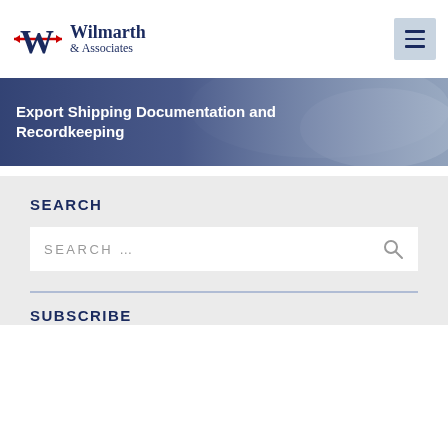[Figure (logo): Wilmarth & Associates logo with stylized W and compass/star motif]
Export Shipping Documentation and Recordkeeping
SEARCH
SEARCH …
SUBSCRIBE